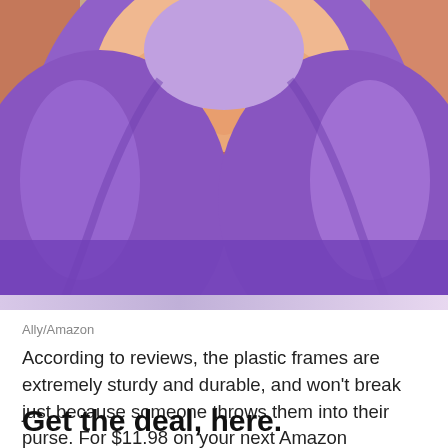[Figure (photo): Close-up photo of a person with purple hair and light skin, smiling, with a decorative background. The image is cropped to show the lower face and hair.]
Ally/Amazon
According to reviews, the plastic frames are extremely sturdy and durable, and won't break just because someone throws them into their purse. For $11.98 on your next Amazon shopping binge, you can even get two different colored pairs, along with a cleaning wipe, a protective case, and a cool new look.
Get the deal, here.